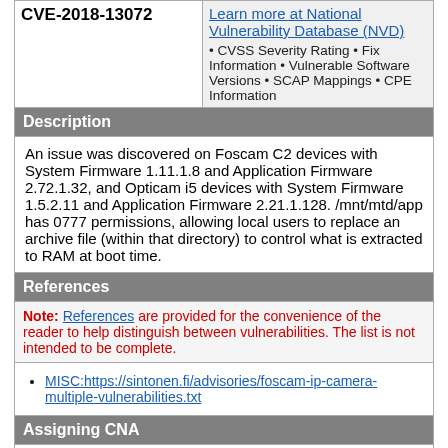| CVE ID | NVD Info |
| --- | --- |
| CVE-2018-13072 | Learn more at National Vulnerability Database (NVD)
• CVSS Severity Rating • Fix Information • Vulnerable Software Versions • SCAP Mappings • CPE Information |
Description
An issue was discovered on Foscam C2 devices with System Firmware 1.11.1.8 and Application Firmware 2.72.1.32, and Opticam i5 devices with System Firmware 1.5.2.11 and Application Firmware 2.21.1.128. /mnt/mtd/app has 0777 permissions, allowing local users to replace an archive file (within that directory) to control what is extracted to RAM at boot time.
References
Note: References are provided for the convenience of the reader to help distinguish between vulnerabilities. The list is not intended to be complete.
MISC:https://sintonen.fi/advisories/foscam-ip-camera-multiple-vulnerabilities.txt
Assigning CNA